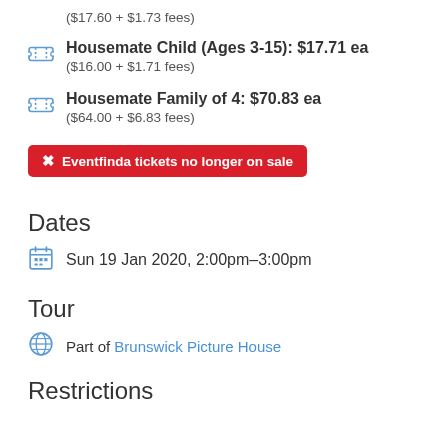($17.60 + $1.73 fees)
Housemate Child (Ages 3-15): $17.71 ea
($16.00 + $1.71 fees)
Housemate Family of 4: $70.83 ea
($64.00 + $6.83 fees)
Eventfinda tickets no longer on sale
Dates
Sun 19 Jan 2020, 2:00pm–3:00pm
Tour
Part of Brunswick Picture House
Restrictions